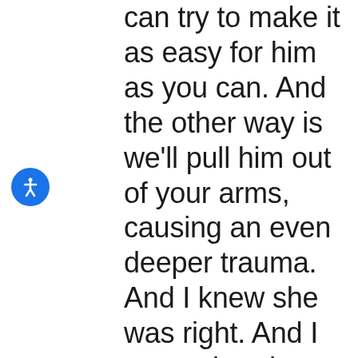can try to make it as easy for him as you can. And the other way is we'll pull him out of your arms, causing an even deeper trauma. And I knew she was right. And I remember the pain. Every time I tell the story I can literally see, smell, and experience what was going on that day. And at that moment I knew that my choices were creating problems in the closest people to me. And so I handed him off and and he kicked and screamed and cried for me. Although I questioned,